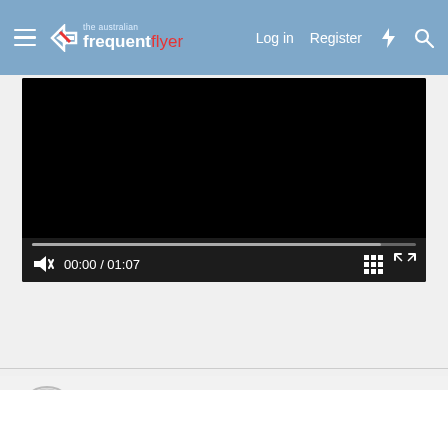the australian frequent flyer — Log in  Register
[Figure (screenshot): Video player showing a black video screen with a progress bar and controls: mute icon, time display 00:00 / 01:07, grid icon, fullscreen icon]
Sponsored Post
Struggling to use your Frequent Flyer Points?
Award Flight Assist takes the hard work out of finding award availability and redeeming your frequent flyer or credit card points for flights.
Using their expert knowledge and specialised tools, the Award